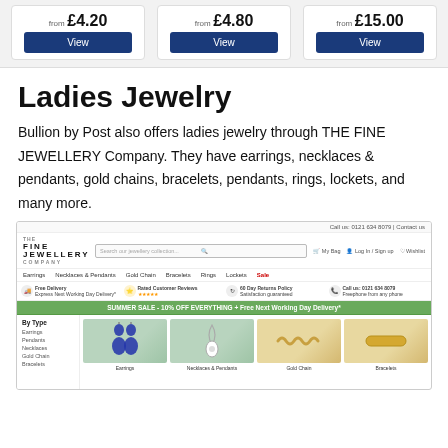[Figure (screenshot): Three product price cards showing 'from £4.20', 'from £4.80', 'from £15.00' each with a blue 'View' button on a grey background]
Ladies Jewelry
Bullion by Post also offers ladies jewelry through THE FINE JEWELLERY Company. They have earrings, necklaces & pendants, gold chains, bracelets, pendants, rings, lockets, and many more.
[Figure (screenshot): Screenshot of The Fine Jewellery Company website showing navigation with Earrings, Necklaces & Pendants, Gold Chain, Bracelets, Rings, Lockets, Sale. A summer sale green banner reads 'SUMMER SALE - 10% OFF EVERYTHING + Free Next Working Day Delivery*'. Category images show Earrings, Necklaces & Pendants, Gold Chain, Bracelets.]